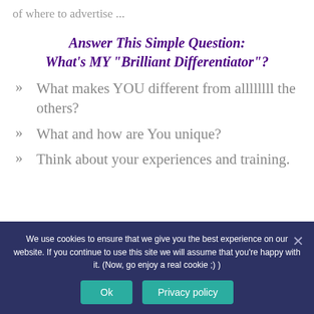of where to advertise ...
Answer This Simple Question: What's MY "Brilliant Differentiator"?
What makes YOU different from allllllll the others?
What and how are You unique?
Think about your experiences and training.
We use cookies to ensure that we give you the best experience on our website. If you continue to use this site we will assume that you're happy with it. (Now, go enjoy a real cookie ;) )